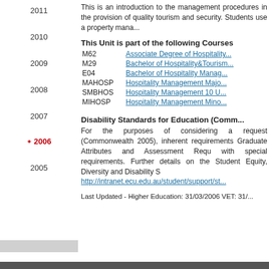2011
2010
2009
2008
2007
2006
2005
This is an introduction to the management procedures in the provision of quality tourism and security. Students use a property mana...
This Unit is part of the following Courses
| Code | Course |
| --- | --- |
| M62 | Associate Degree of Hospitality... |
| M29 | Bachelor of Hospitality&Tourism... |
| E04 | Bachelor of Hospitality Manag... |
| MAHOSP | Hospitality Management Majo... |
| SMBHOS | Hospitality Management 10 U... |
| MIHOSP | Hospitality Management Mino... |
Disability Standards for Education (Comm...
For the purposes of considering a request (Commonwealth 2005), inherent requirements Graduate Attributes and Assessment Requ with special requirements. Further details on the Student Equity, Diversity and Disability S http://intranet.ecu.edu.au/student/support/st...
Last Updated - Higher Education: 31/03/2006 VET: 31/...